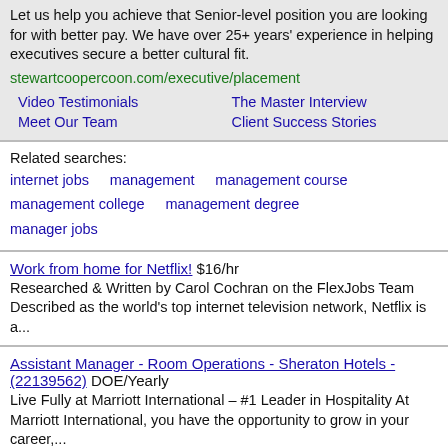Let us help you achieve that Senior-level position you are looking for with better pay. We have over 25+ years' experience in helping executives secure a better cultural fit.
stewartcoopercoon.com/executive/placement
Video Testimonials
The Master Interview
Meet Our Team
Client Success Stories
Related searches: internet jobs   management   management course management college   management degree manager jobs
Work from home for Netflix! $16/hr
Researched & Written by Carol Cochran on the FlexJobs Team Described as the world's top internet television network, Netflix is a...
Assistant Manager - Room Operations - Sheraton Hotels - (22139562) DOE/Yearly
Live Fully at Marriott International – #1 Leader in Hospitality At Marriott International, you have the opportunity to grow in your career,...
Most Popular Job Search Sites in USA | Best USA Job Search Sites - ExpediUSA $0
There are so many best & top job sites in the USA, but